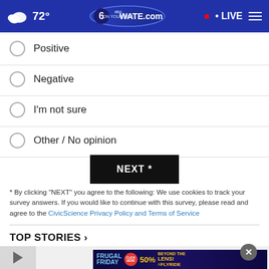72° WATE.com LIVE
Positive
Negative
I'm not sure
Other / No opinion
NEXT *
* By clicking "NEXT" you agree to the following: We use cookies to track your survey answers. If you would like to continue with this survey, please read and agree to the CivicScience Privacy Policy and Terms of Service
TOP STORIES ›
[Figure (screenshot): Frugal Friday advertisement banner with 50% off and Beyond the Lens Flyride promotion]